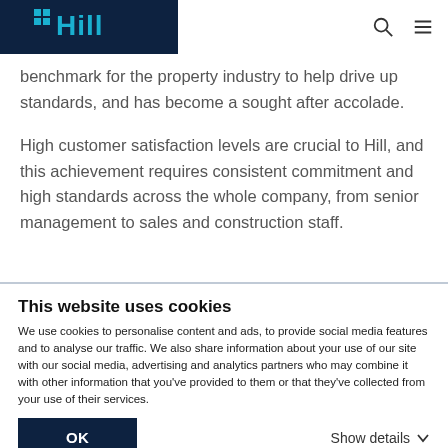Hill (logo)
benchmark for the property industry to help drive up standards, and has become a sought after accolade.
High customer satisfaction levels are crucial to Hill, and this achievement requires consistent commitment and high standards across the whole company, from senior management to sales and construction staff.
This website uses cookies
We use cookies to personalise content and ads, to provide social media features and to analyse our traffic. We also share information about your use of our site with our social media, advertising and analytics partners who may combine it with other information that you've provided to them or that they've collected from your use of their services.
OK
Show details